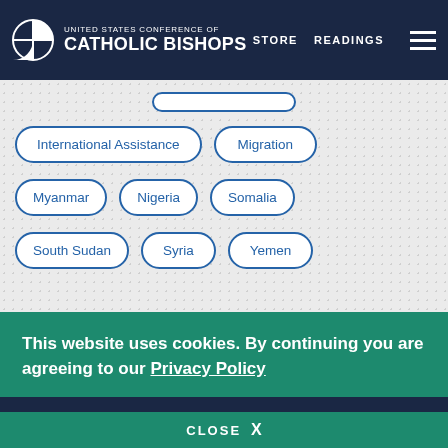United States Conference of Catholic Bishops | STORE | READINGS
International Assistance
Migration
Myanmar
Nigeria
Somalia
South Sudan
Syria
Yemen
This website uses cookies. By continuing you are agreeing to our Privacy Policy
CLOSE X